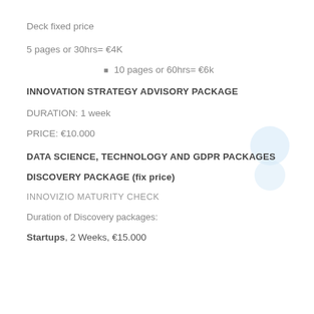Deck fixed price
5 pages or 30hrs= €4K
10 pages or 60hrs= €6k
INNOVATION STRATEGY ADVISORY PACKAGE
DURATION: 1 week
PRICE: €10.000
DATA SCIENCE, TECHNOLOGY AND GDPR PACKAGES
DISCOVERY PACKAGE (fix price)
INNOVIZIO MATURITY CHECK
Duration of Discovery packages:
Startups, 2 Weeks, €15.000